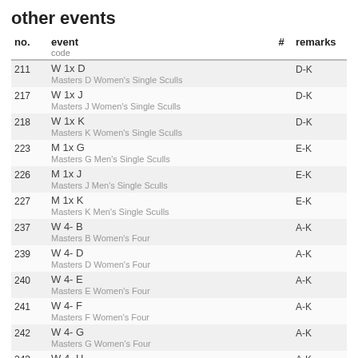other events
| no. | event
code | # | remarks |
| --- | --- | --- | --- |
| 211 | W 1x D
Masters D Women's Single Sculls |  | D-K |
| 217 | W 1x J
Masters J Women's Single Sculls |  | D-K |
| 218 | W 1x K
Masters K Women's Single Sculls |  | D-K |
| 223 | M 1x G
Masters G Men's Single Sculls |  | E-K |
| 226 | M 1x J
Masters J Men's Single Sculls |  | E-K |
| 227 | M 1x K
Masters K Men's Single Sculls |  | E-K |
| 237 | W 4- B
Masters B Women's Four |  | A-K |
| 239 | W 4- D
Masters D Women's Four |  | A-K |
| 240 | W 4- E
Masters E Women's Four |  | A-K |
| 241 | W 4- F
Masters F Women's Four |  | A-K |
| 242 | W 4- G
Masters G Women's Four |  | A-K |
| 243 | W 4- H
Masters H Women's Four |  | A-K |
| 244 | W 4- I |  | A-K |